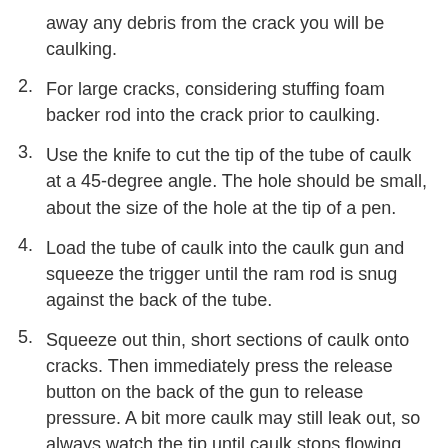away any debris from the crack you will be caulking.
2. For large cracks, considering stuffing foam backer rod into the crack prior to caulking.
3. Use the knife to cut the tip of the tube of caulk at a 45-degree angle. The hole should be small, about the size of the hole at the tip of a pen.
4. Load the tube of caulk into the caulk gun and squeeze the trigger until the ram rod is snug against the back of the tube.
5. Squeeze out thin, short sections of caulk onto cracks. Then immediately press the release button on the back of the gun to release pressure. A bit more caulk may still leak out, so always watch the tip until caulk stops flowing.
6. Smooth the caulk with a finger, then wipe your finger on the cloth. You can use nitrile gloves while